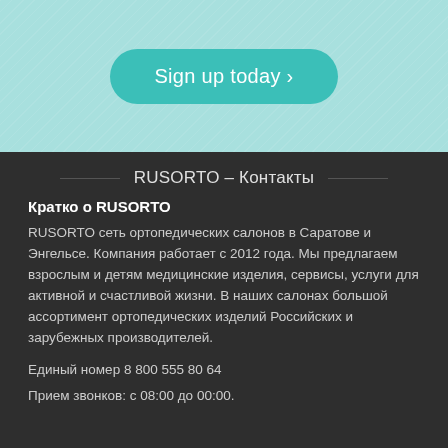[Figure (other): Teal/mint patterned background with a rounded teal 'Sign up today ›' button]
RUSORTO – Контакты
Кратко о RUSORTO
RUSORTO сеть ортопедических салонов в Саратове и Энгельсе. Компания работает с 2012 года. Мы предлагаем взрослым и детям медицинские изделия, сервисы, услуги для активной и счастливой жизни. В наших салонах большой ассортимент ортопедических изделий Российских и зарубежных производителей.
Единый номер 8 800 555 80 64
Прием звонков: с 08:00 до 00:00.